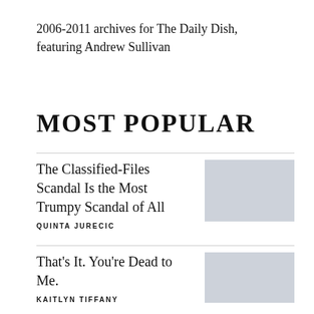2006-2011 archives for The Daily Dish, featuring Andrew Sullivan
MOST POPULAR
The Classified-Files Scandal Is the Most Trumpy Scandal of All — QUINTA JURECIC
That's It. You're Dead to Me. — KAITLYN TIFFANY